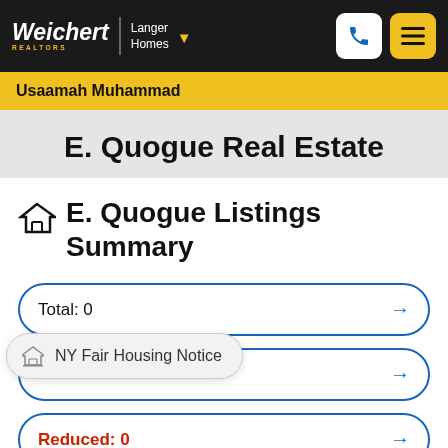Weichert REALTORS | Langer Homes
Usaamah Muhammad
E. Quogue Real Estate
E. Quogue Listings Summary
Total: 0
NY Fair Housing Notice
Reduced: 0